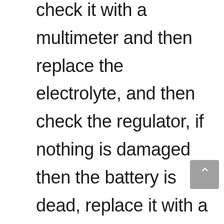check it with a multimeter and then replace the electrolyte, and then check the regulator, if nothing is damaged then the battery is dead, replace it with a new one.

Most batteries are designed to convert the kinetic energy while riding, helping prolong the life of the battery as a result. What are